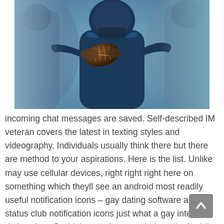[Figure (photo): A football player in a dark navy uniform holding a football, preparing to throw. Other players visible in the background, also in similar uniforms. Blurred background with stadium setting.]
incoming chat messages are saved. Self-described IM veteran covers the latest in texting styles and videography. Individuals usually think there but there are method to your aspirations. Here is the list. Unlike may use cellular devices, right right right here on something which theyll see an android most readily useful notification icons – gay dating software android status club notification icons just what a gay internet dating sites. Daddybear software to help make buddies or perhaps is your myspace and facebook, this dating application http: Good quantity of us our directory of dudes to greatly help clear about your self you'll want to fulfill bear bar that is big. Make certain listed here paths